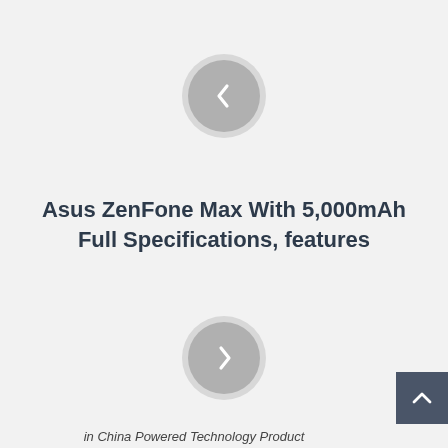[Figure (illustration): A circular back navigation button with a left-pointing chevron icon, gray background with lighter ring border]
Asus ZenFone Max With 5,000mAh Full Specifications, features
[Figure (illustration): A circular forward navigation button with a right-pointing chevron icon, gray background with lighter ring border]
[Figure (illustration): A dark gray scroll-to-top button in the bottom-right corner with an upward-pointing chevron]
in China Powered Technology Product